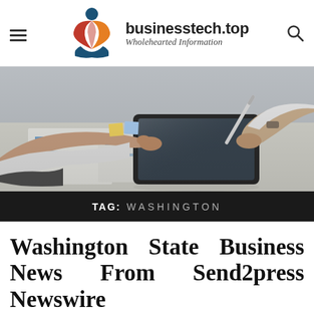businesstech.top — Wholehearted Information
[Figure (photo): Two people at a desk reviewing documents and using a tablet with a stylus, business meeting scene with papers showing charts]
TAG: WASHINGTON
Washington State Business News From Send2press Newswire